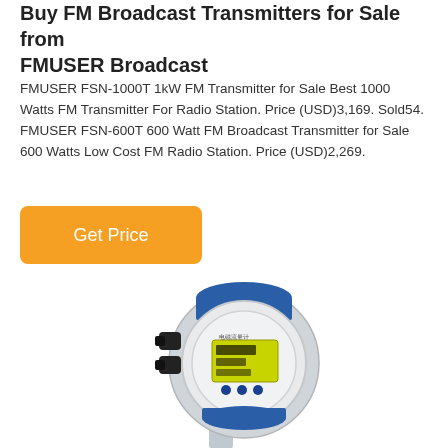Buy FM Broadcast Transmitters for Sale from FMUSER Broadcast
FMUSER FSN-1000T 1kW FM Transmitter for Sale Best 1000 Watts FM Transmitter For Radio Station. Price (USD)￼3,169. Sold￼54. FMUSER FSN-600T 600 Watt FM Broadcast Transmitter for Sale 600 Watts Low Cost FM Radio Station. Price (USD)￼2,269.
[Figure (other): Orange rounded rectangle button labeled 'Get Price']
[Figure (photo): Photo of a blue and silver industrial FM broadcast transmitter device with a digital display screen showing Chinese characters and numeric readings, mounted on a pole.]